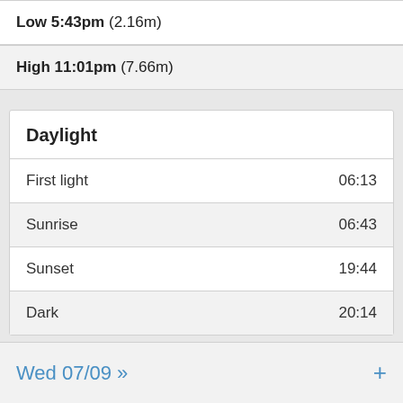Low 5:43pm (2.16m)
High 11:01pm (7.66m)
Daylight
|  |  |
| --- | --- |
| First light | 06:13 |
| Sunrise | 06:43 |
| Sunset | 19:44 |
| Dark | 20:14 |
Wed 07/09 »  +